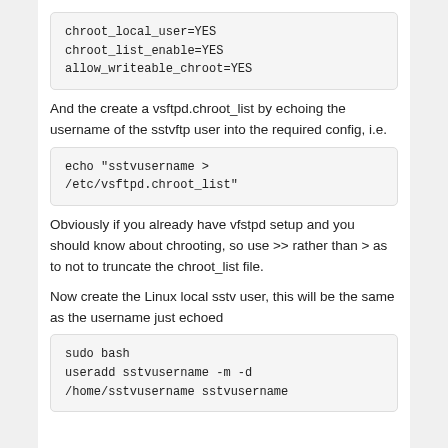chroot_local_user=YES
chroot_list_enable=YES
allow_writeable_chroot=YES
And the create a vsftpd.chroot_list by echoing the username of the sstvftp user into the required config, i.e.
echo "sstvusername > /etc/vsftpd.chroot_list"
Obviously if you already have vfstpd setup and you should know about chrooting, so use >> rather than > as to not to truncate the chroot_list file.
Now create the Linux local sstv user, this will be the same as the username just echoed
sudo bash
useradd sstvusername -m -d /home/sstvusername sstvusername